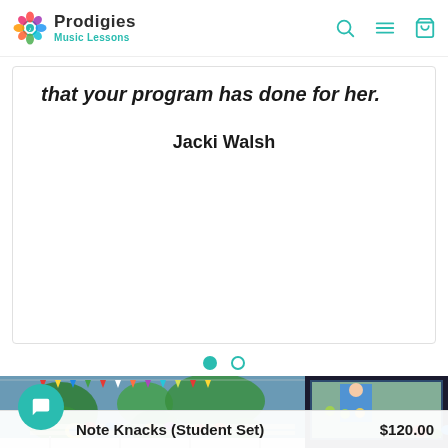Prodigies Music Lessons
that your program has done for her.
Jacki Walsh
[Figure (other): Two circular carousel indicator dots — one filled teal, one empty teal outline]
[Figure (photo): Classroom photo showing tables with colorful music bell sets, a world map mural on the wall, and a large screen showing an animated music lesson video.]
Note Knacks (Student Set)
$120.00